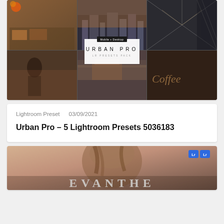[Figure (photo): Urban Pro LR Presets Pack collage showing multiple urban photography shots including city streets, a highway tunnel, food, and coffee sign, with a centered white overlay card showing 'Mobile + Desktop / URBAN PRO / LR PRESETS PACK']
Lightroom Preset   03/09/2021
Urban Pro – 5 Lightroom Presets 5036183
[Figure (photo): Fashion photography showing a woman with brown hair against a warm background, with white text 'EVANTHE' at the bottom, and two blue 'Lr' badge icons in the top right corner]